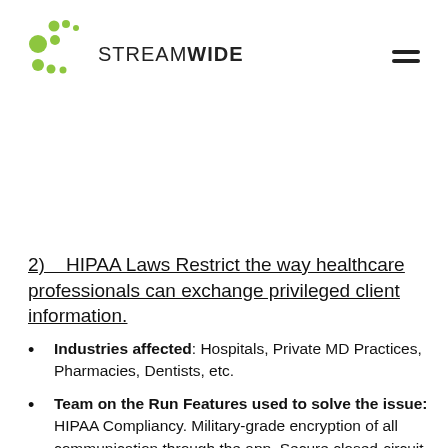[Figure (logo): StreamWide logo with green dots pattern and company name]
2)    HIPAA Laws Restrict the way healthcare professionals can exchange privileged client information.
Industries affected: Hospitals, Private MD Practices, Pharmacies, Dentists, etc.
Team on the Run Features used to solve the issue: HIPAA Compliancy. Military-grade encryption of all communication through the app. Secure closed-circuit environment, all from your personal